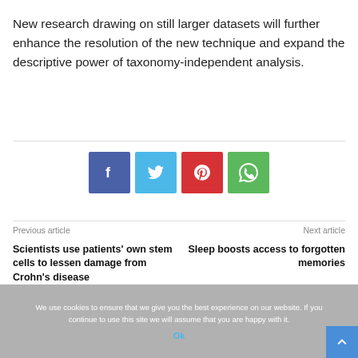New research drawing on still larger datasets will further enhance the resolution of the new technique and expand the descriptive power of taxonomy-independent analysis.
[Figure (infographic): Four social media share buttons: Facebook (blue), Twitter (light blue), Pinterest (red), WhatsApp (green), each showing their respective icons in white.]
Previous article
Next article
Scientists use patients' own stem cells to lessen damage from Crohn's disease
Sleep boosts access to forgotten memories
We use cookies to ensure that we give you the best experience on our website. If you continue to use this site we will assume that you are happy with it.
Ok